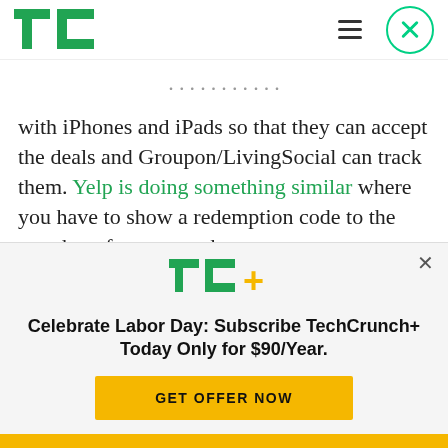TechCrunch
with iPhones and iPads so that they can accept the deals and Groupon/LivingSocial can track them. Yelp is doing something similar where you have to show a redemption code to the merchant from your phone.
Foursquare and Facebook are taking a different
[Figure (other): TechCrunch+ subscription promotional banner with TC+ logo, headline 'Celebrate Labor Day: Subscribe TechCrunch+ Today Only for $90/Year.' and a yellow GET OFFER NOW button]